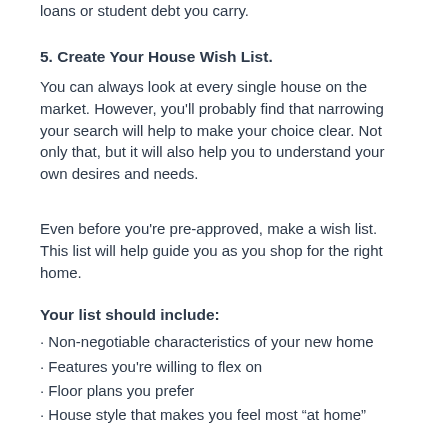loans or student debt you carry.
5. Create Your House Wish List.
You can always look at every single house on the market. However, you'll probably find that narrowing your search will help to make your choice clear. Not only that, but it will also help you to understand your own desires and needs.
Even before you're pre-approved, make a wish list. This list will help guide you as you shop for the right home.
Your list should include:
· Non-negotiable characteristics of your new home
· Features you're willing to flex on
· Floor plans you prefer
· House style that makes you feel most “at home”